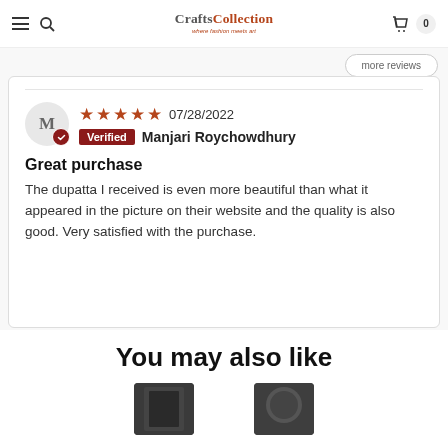CraftsCollection
★★★★★ 07/28/2022 — Verified Manjari Roychowdhury
Great purchase
The dupatta I received is even more beautiful than what it appeared in the picture on their website and the quality is also good. Very satisfied with the purchase.
You may also like
[Figure (photo): Two partially visible product thumbnail images at the bottom of the page]